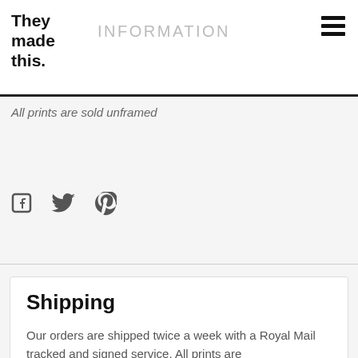They made this.
INFORMATION
All prints are sold unframed
[Figure (illustration): Social media share icons: Facebook, Twitter, Pinterest]
Shipping
Our orders are shipped twice a week with a Royal Mail tracked and signed service. All prints are